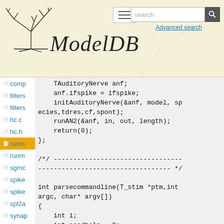ModelDB — website header with logo, hamburger menu, search box, Advanced search link
[Figure (logo): ModelDB tree/neuron logo (black line art on tan background)]
ModelDB
comp
filters
filters
hc.c
hc.h
runm (active)
runm
sgmc
spike
spike
spl2a
synap
synap
test.n
test_i
TAuditoryNerve anf;
    anf.ifspike = ifspike;
    initAuditoryNerve(&anf, model, species,tdres,cf,spont);
    runAN2(&anf, in, out, length);
    return(0);
};

/*/ -------------------------------------
------------------------------------ */

int parsecommandline(T_stim *ptm,int argc, char* argv[])
{
    int i;
    int needhelp = 0;
    char *para;
    i = 1;
    if(argc ==1 ) needhelp = 1;
    while(i<argc)